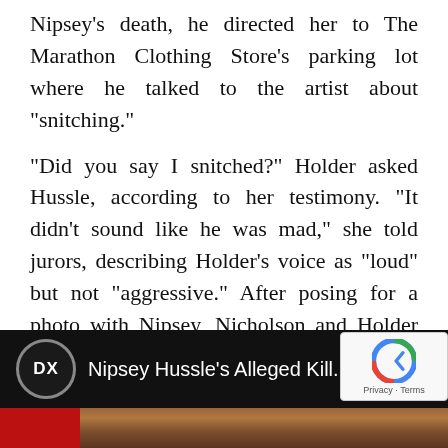Nipsey’s death, he directed her to The Marathon Clothing Store’s parking lot where he talked to the artist about “snitching.”
“Did you say I snitched?” Holder asked Hussle, according to her testimony. “It didn’t sound like he was mad,” she told jurors, describing Holder’s voice as “loud” but not “aggressive.” After posing for a photo with Nipsey, Nicholson and Holder drove around the block. While in the car, he loaded a semi-automatic weapon but put it away once Nicholson told him to.
[Figure (screenshot): Video player bar showing DX logo and title 'Nipsey Hussle’s Alleged Kill...' with three-dot menu button, overlaid with reCAPTCHA badge showing 'Privacy · Terms']